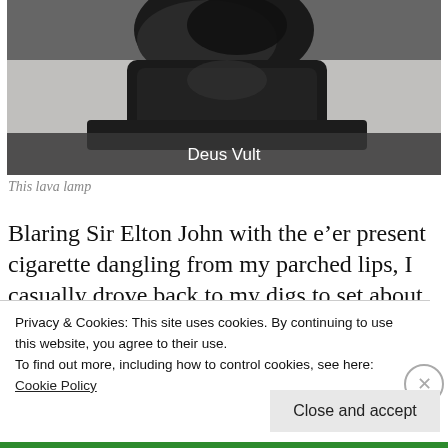[Figure (photo): A close-up photo of a black shoe/boot on a gray carpet, with a dark overlay bar at the bottom showing the text 'Deus Vult' in white]
This lava lamp
Blaring Sir Elton John with the e'er present cigarette dangling from my parched lips, I casually drove back to my digs to set about my
Privacy & Cookies: This site uses cookies. By continuing to use this website, you agree to their use.
To find out more, including how to control cookies, see here:
Cookie Policy
Close and accept